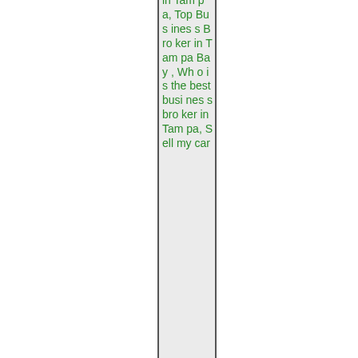in Tampa, Top Business Broker in Tampa Bay, Who is the best business broker in Tampa, Sell my car